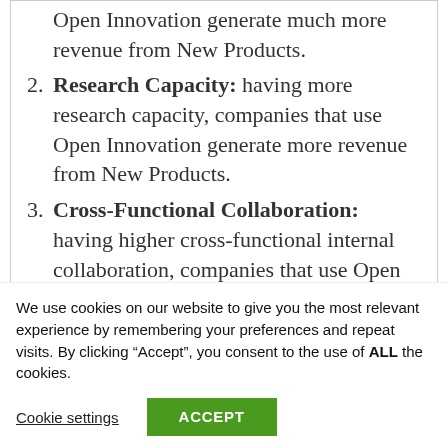Open Innovation generate much more revenue from New Products.
Research Capacity: having more research capacity, companies that use Open Innovation generate more revenue from New Products.
Cross-Functional Collaboration: having higher cross-functional internal collaboration, companies that use Open Innovation generate more revenue from New Products.
We use cookies on our website to give you the most relevant experience by remembering your preferences and repeat visits. By clicking “Accept”, you consent to the use of ALL the cookies.